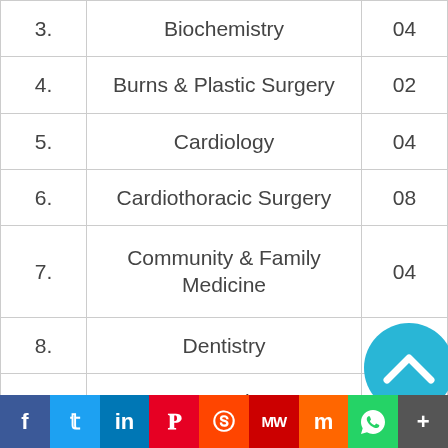| # | Department | Count |
| --- | --- | --- |
| 3. | Biochemistry | 04 |
| 4. | Burns & Plastic Surgery | 02 |
| 5. | Cardiology | 04 |
| 6. | Cardiothoracic Surgery | 08 |
| 7. | Community & Family Medicine | 04 |
| 8. | Dentistry | 02 |
| 9. | Dermatology | 02 |
| 10. | Endocrinology & Metabolism | 03 |